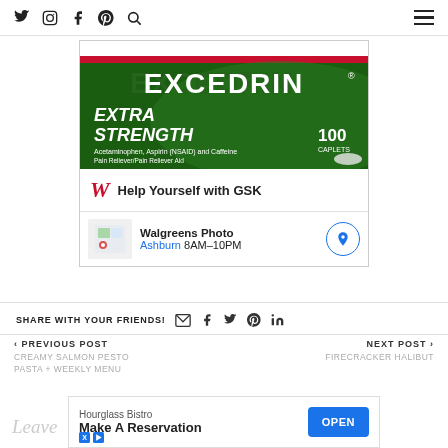Social media nav icons: Twitter, Instagram, Facebook, Pinterest, Search | Hamburger menu
[Figure (photo): Excedrin Extra Strength box — Acetaminophen, Aspirin (NSAID) and Caffeine, 100 Caplets, Pain Reliever/Pain Reliever Aid]
Help Yourself with GSK
Walgreens Photo
Ashburn 8AM–10PM
SHARE WITH YOUR FRIENDS!
‹ PREVIOUS POST
CREAMY SALMON PESTO PASTA + WEEKLY MENU
NEXT POST ›
FIRECRACKER HALIBUT
[Figure (screenshot): Advertisement: Hourglass Bistro — Make A Reservation — OPEN button]
Leave